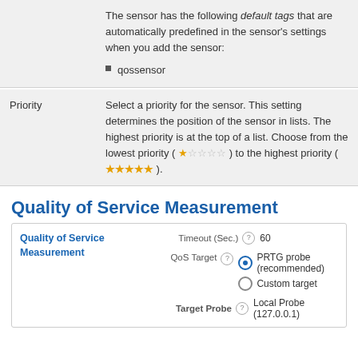The sensor has the following default tags that are automatically predefined in the sensor's settings when you add the sensor:
qossensor
Priority
Select a priority for the sensor. This setting determines the position of the sensor in lists. The highest priority is at the top of a list. Choose from the lowest priority ( ★☆☆☆☆ ) to the highest priority ( ★★★★★ ).
Quality of Service Measurement
|  | Field | Value |
| --- | --- | --- |
| Quality of Service Measurement | Timeout (Sec.) | 60 |
|  | QoS Target | PRTG probe (recommended) / Custom target |
|  | Target Probe | Local Probe (127.0.0.1) |